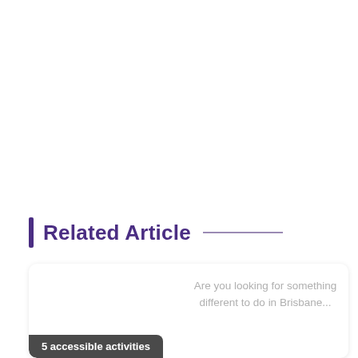Related Article
Are you looking for something different to do in Brisbane...
5 accessible activities